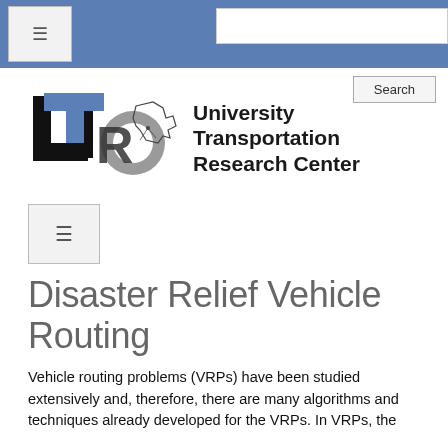University Transportation Research Center
[Figure (logo): UTRC logo with stylized U, T, R, C letters and New York State outline]
Disaster Relief Vehicle Routing
Vehicle routing problems (VRPs) have been studied extensively and, therefore, there are many algorithms and techniques already developed for the VRPs. In VRPs, the